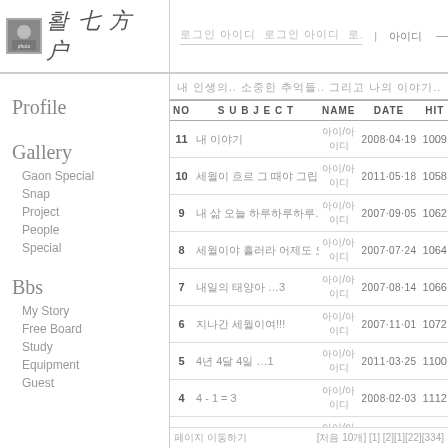[Figure (logo): Photographer logo with stylized Korean text and small photo thumbnail]
로그인 아이디 | 아이디 ___________
내 인생의.. 소중한 추억들.. 그리고 나의 이야기..
| NO | SUBJECT | NAME | DATE | HIT |
| --- | --- | --- | --- | --- |
| 11 | 내 이야기 | 아이디 | 2008·04·19 | 1009 |
| 10 | 세월이 흘러 그 때가 그립다 | 아이디 | 2011·05·18 | 1058 |
| 9 | 내 삶 오늘 하루하루하루. | 아이디 | 2007·09·05 | 1062 |
| 8 | 세월이야 흘러라 어제도 오늘도..  …2 | 아이디 | 2007·07·24 | 1064 |
| 7 | 내일의 태양아  …3 | 아이디 | 2007·08·14 | 1066 |
| 6 | 지나간 세월이여!!! | 아이디 | 2007·11·01 | 1072 |
| 5 | 4년 4달 4일  …1 | 아이디 | 2011·03·25 | 1100 |
| 4 | 4 - 1 = 3 | 아이디 | 2008·02·03 | 1112 |
| 3 | LA 여행기 2탄 -방랑자#1- | 아이디 | 2010·01·04 | 1129 |
| 2 | 자유를이 야기 -그이야기 : 나와- | 아이디 | 2009·08·19 | 1852 |
| 1 | 내가 있어야 할... | 아이디 | 2007·06·10 | 2158 |
페이지 이동하기  [처음 10개] [1] [2][1][22][334]